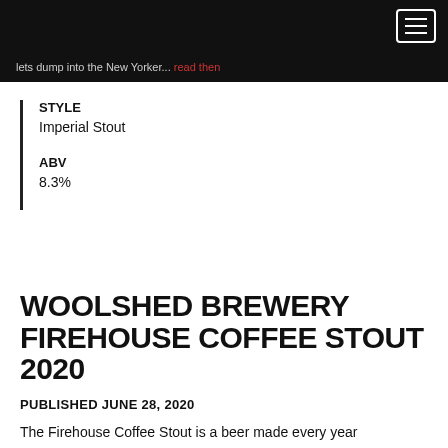lets dump into the New Yorker... read then
STYLE
Imperial Stout
ABV
8.3%
WOOLSHED BREWERY FIREHOUSE COFFEE STOUT 2020
PUBLISHED JUNE 28, 2020
The Firehouse Coffee Stout is a beer made every year